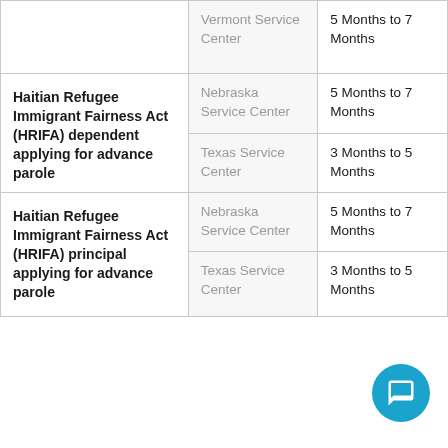| Form Type | Service Center | Processing Time |
| --- | --- | --- |
|  | Vermont Service Center | 5 Months to 7 Months |
| Haitian Refugee Immigrant Fairness Act (HRIFA) dependent applying for advance parole | Nebraska Service Center | 5 Months to 7 Months |
| Haitian Refugee Immigrant Fairness Act (HRIFA) dependent applying for advance parole | Texas Service Center | 3 Months to 5 Months |
| Haitian Refugee Immigrant Fairness Act (HRIFA) principal applying for advance parole | Nebraska Service Center | 5 Months to 7 Months |
| Haitian Refugee Immigrant Fairness Act (HRIFA) principal applying for advance parole | Texas Service Center | 3 Months to 5 Months |